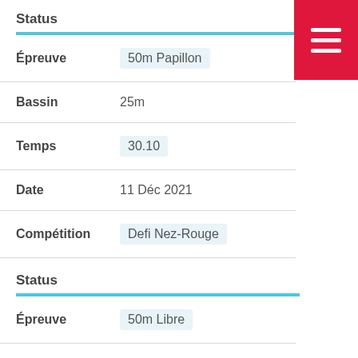Status
Épreuve: 50m Papillon
Bassin: 25m
Temps: 30.10
Date: 11 Déc 2021
Compétition: Defi Nez-Rouge
Status
Épreuve: 50m Libre
Bassin: 25m